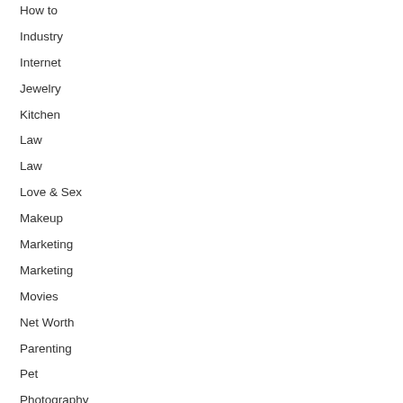How to
Industry
Internet
Jewelry
Kitchen
Law
Law
Love & Sex
Makeup
Marketing
Marketing
Movies
Net Worth
Parenting
Pet
Photography